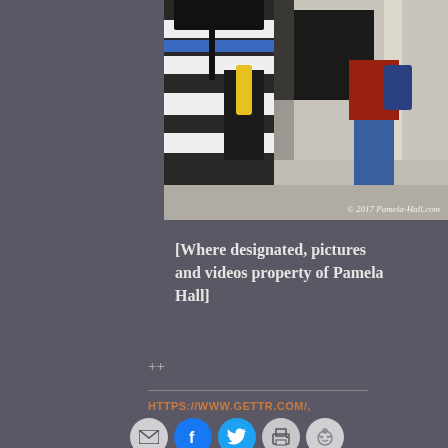[Figure (photo): Street scene photo showing a person in a black and white striped shirt holding an umbrella and a yellow object, with another person in jeans and red jacket walking in the background on a sidewalk. Copyright watermark: © 2017 Pamela-Hall.com]
[Where designated, pictures and videos property of Pamela Hall]
++
HTTPS://WWW.GETTR.COM/,
[Figure (infographic): Row of social media share buttons: email (envelope icon), Facebook (f icon, blue), Twitter (bird icon, cyan), print (printer icon), Reddit (alien icon)]